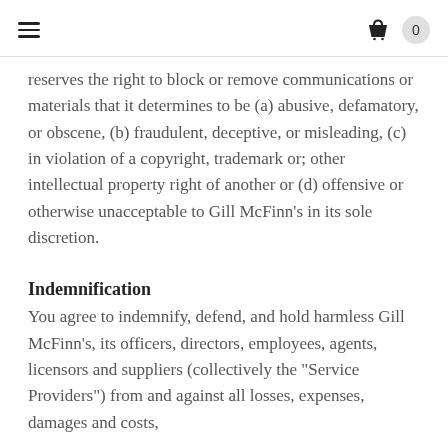≡  🛒 0
reserves the right to block or remove communications or materials that it determines to be (a) abusive, defamatory, or obscene, (b) fraudulent, deceptive, or misleading, (c) in violation of a copyright, trademark or; other intellectual property right of another or (d) offensive or otherwise unacceptable to Gill McFinn's in its sole discretion.
Indemnification
You agree to indemnify, defend, and hold harmless Gill McFinn's, its officers, directors, employees, agents, licensors and suppliers (collectively the "Service Providers") from and against all losses, expenses, damages and costs,